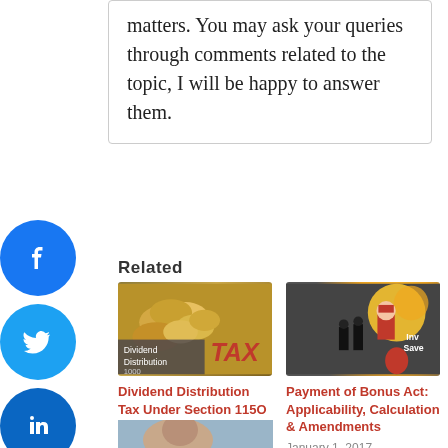matters. You may ask your queries through comments related to the topic, I will be happy to answer them.
Related
[Figure (photo): Dividend Distribution Tax image showing gold coins and red TAX lettering with dividend distribution text overlay]
Dividend Distribution Tax Under Section 115O
May 18, 2017
In "Income tax"
[Figure (photo): Payment of Bonus Act image showing Santa Claus figure with businessmen and investment savings text]
Payment of Bonus Act: Applicability, Calculation & Amendments
January 1, 2017
In "Corporate Law"
[Figure (photo): Partial image at bottom of page showing a person]